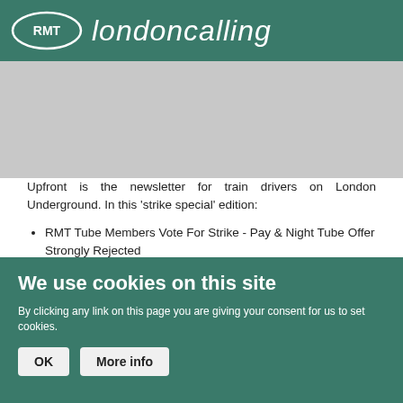RMT londoncalling
[Figure (photo): Greyed out image area below the RMT London Calling header banner]
Upfront is the newsletter for train drivers on London Underground. In this 'strike special' edition:
RMT Tube Members Vote For Strike - Pay & Night Tube Offer Strongly Rejected
WHAT CAN I DO TO HELP?
Unity Between Unions
Pay Offer Rejected
We use cookies on this site
By clicking any link on this page you are giving your consent for us to set cookies.
OK   More info